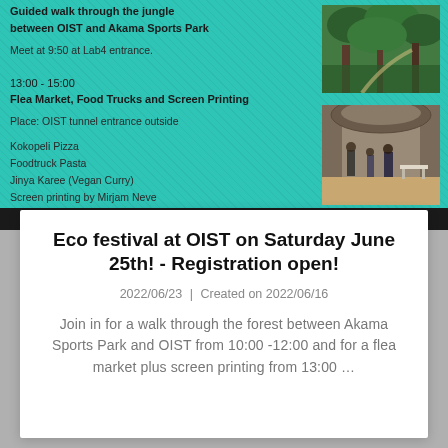Guided walk through the jungle between OIST and Akama Sports Park
Meet at 9:50 at Lab4 entrance.
13:00 - 15:00
Flea Market, Food Trucks and Screen Printing
Place: OIST tunnel entrance outside
Kokopeli Pizza
Foodtruck Pasta
Jinya Karee (Vegan Curry)
Screen printing by Mirjam Neve
[Figure (photo): Outdoor nature/jungle photo]
[Figure (photo): People at OIST tunnel entrance outside]
Eco festival at OIST on Saturday June 25th! - Registration open!
2022/06/23 | Created on 2022/06/16
Join in for a walk through the forest between Akama Sports Park and OIST from 10:00 -12:00 and for a flea market plus screen printing from 13:00 …